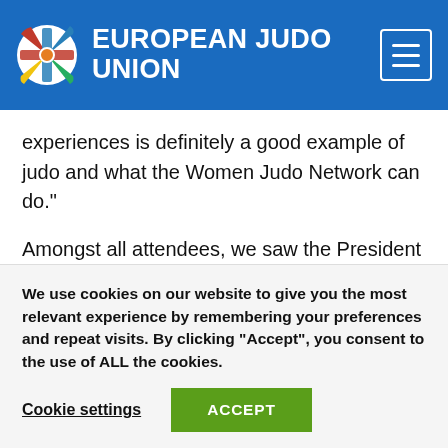EUROPEAN JUDO UNION
experiences is definitely a good example of judo and what the Women Judo Network can do."
Amongst all attendees, we saw the President of the the Swedish Judo Federation; IJF IT Team member, Elisabetta Fratini; Olympic Bronze medallist, Gevrise
We use cookies on our website to give you the most relevant experience by remembering your preferences and repeat visits. By clicking “Accept”, you consent to the use of ALL the cookies.
Cookie settings   ACCEPT